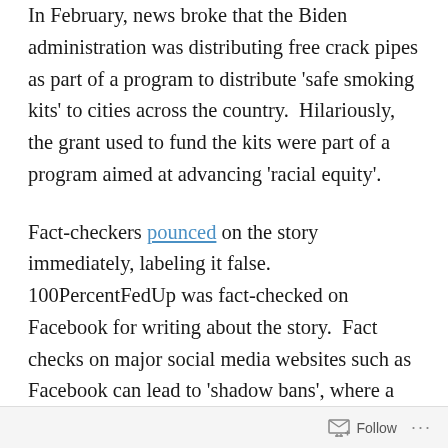In February, news broke that the Biden administration was distributing free crack pipes as part of a program to distribute 'safe smoking kits' to cities across the country.  Hilariously, the grant used to fund the kits were part of a program aimed at advancing 'racial equity'.
Fact-checkers pounced on the story immediately, labeling it false.  100PercentFedUp was fact-checked on Facebook for writing about the story.  Fact checks on major social media websites such as Facebook can lead to 'shadow bans', where a page's reach is significantly reduced.
The fact-checkers claimed that the story, which
Follow